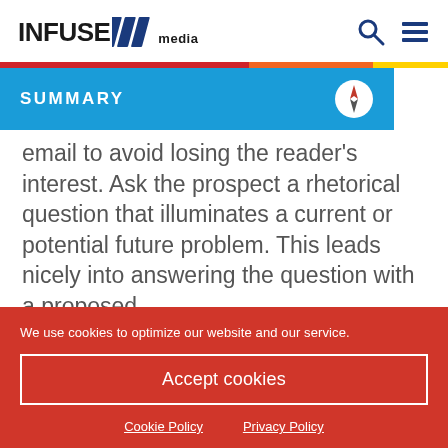INFUSE media
SUMMARY
email to avoid losing the reader's interest. Ask the prospect a rhetorical question that illuminates a current or potential future problem. This leads nicely into answering the question with a proposed
We use cookies to optimize our website and our service.
Accept cookies
Cookie Policy
Privacy Policy